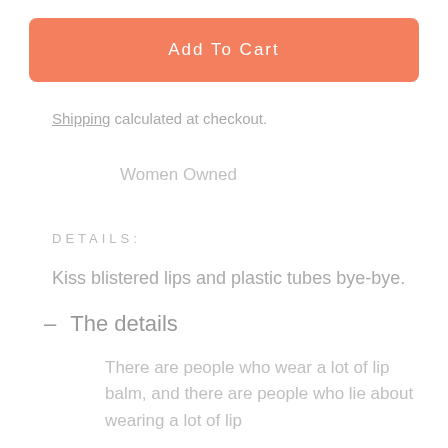Add To Cart
Shipping calculated at checkout.
Women Owned
DETAILS:
Kiss blistered lips and plastic tubes bye-bye.
– The details
There are people who wear a lot of lip balm, and there are people who lie about wearing a lot of lip